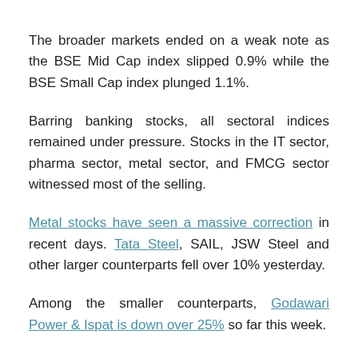The broader markets ended on a weak note as the BSE Mid Cap index slipped 0.9% while the BSE Small Cap index plunged 1.1%.
Barring banking stocks, all sectoral indices remained under pressure. Stocks in the IT sector, pharma sector, metal sector, and FMCG sector witnessed most of the selling.
Metal stocks have seen a massive correction in recent days. Tata Steel, SAIL, JSW Steel and other larger counterparts fell over 10% yesterday.
Among the smaller counterparts, Godawari Power & Ispat is down over 25% so far this week.
Shares of KSB and Adani Power hit their 52-week high